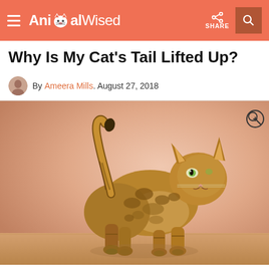AnimalWised — SHARE
Why Is My Cat's Tail Lifted Up?
By Ameera Mills. August 27, 2018
[Figure (photo): A Bengal cat standing on a wooden surface with its tail lifted up, against a peach/salmon-colored background. The cat has distinctive leopard-like spotted markings.]